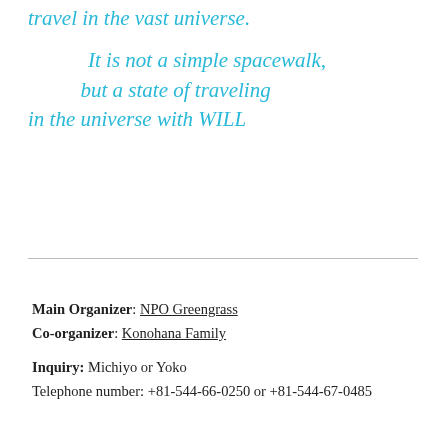travel in the vast universe.

It is not a simple spacewalk,
but a state of traveling
in the universe with WILL
Main Organizer: NPO Greengrass
Co-organizer: Konohana Family

Inquiry: Michiyo or Yoko
Telephone number: +81-544-66-0250 or +81-544-67-0485